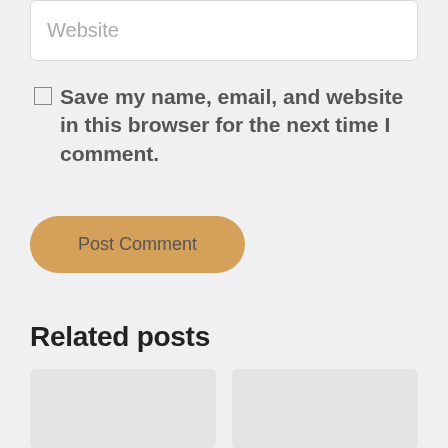[Figure (screenshot): Website input text field with placeholder text 'Website']
Save my name, email, and website in this browser for the next time I comment.
[Figure (screenshot): Post Comment button with golden/tan color and rounded pill shape]
Related posts
[Figure (screenshot): Two related post card placeholders shown at bottom of page]